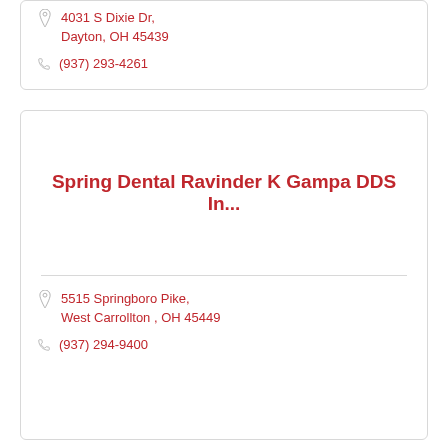4031 S Dixie Dr, Dayton, OH 45439
(937) 293-4261
Spring Dental Ravinder K Gampa DDS In...
5515 Springboro Pike, West Carrollton , OH 45449
(937) 294-9400